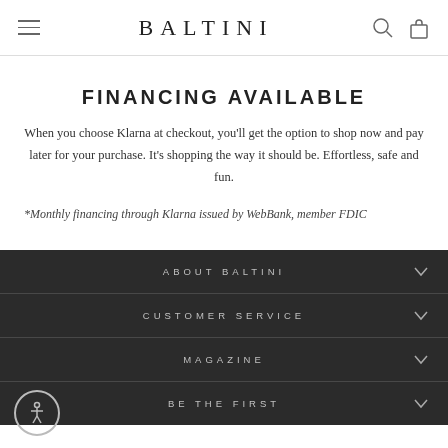BALTINI
FINANCING AVAILABLE
When you choose Klarna at checkout, you'll get the option to shop now and pay later for your purchase. It's shopping the way it should be. Effortless, safe and fun.
*Monthly financing through Klarna issued by WebBank, member FDIC
ABOUT BALTINI
CUSTOMER SERVICE
MAGAZINE
BE THE FIRST